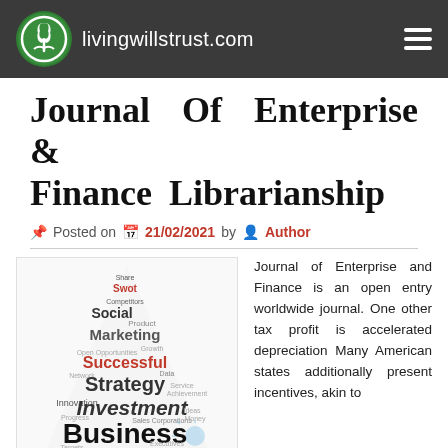livingwillstrust.com
Journal Of Enterprise & Finance Librarianship
Posted on 21/02/2021 by Author
[Figure (illustration): Word cloud in the shape of a triangle/arrow containing business and finance terms such as Business, Profit, Strategy, Investment, Marketing, Social, Product, Successful, Innovation, Process, Global, Team, Goals, Targets and others. The word 'Profit' appears in large red text at the bottom, 'Business' in large black text, 'Strategy' and 'Investment' in prominent sizes.]
Journal of Enterprise and Finance is an open entry worldwide journal. One other tax profit is accelerated depreciation Many American states additionally present incentives, akin to